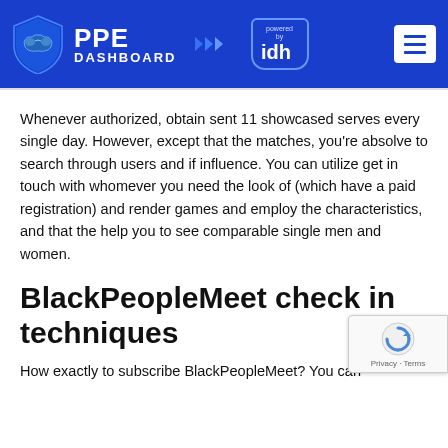[Figure (logo): PPE Dashboard logo with shield icon and 'powered by idh' badge on blue header bar, with hamburger menu button on right]
Whenever authorized, obtain sent 11 showcased serves every single day. However, except that the matches, you're absolve to search through users and if influence. You can utilize get in touch with whomever you need the look of (which have a paid registration) and render games and employ the characteristics, and that the help you to see comparable single men and women.
BlackPeopleMeet check in techniques
How exactly to subscribe BlackPeopleMeet? You can